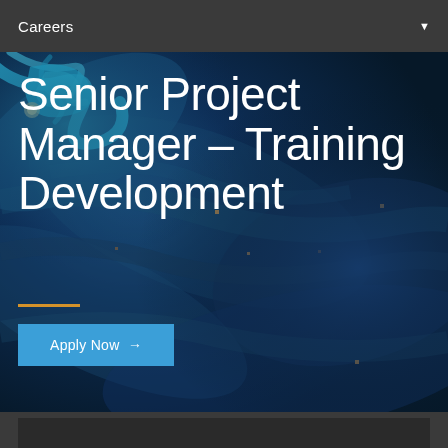Careers
[Figure (photo): Dark blue marble/aerial water texture background image with teal and cyan swirl details and scattered gold/amber dots, used as hero banner background]
Senior Project Manager – Training Development
Apply Now →